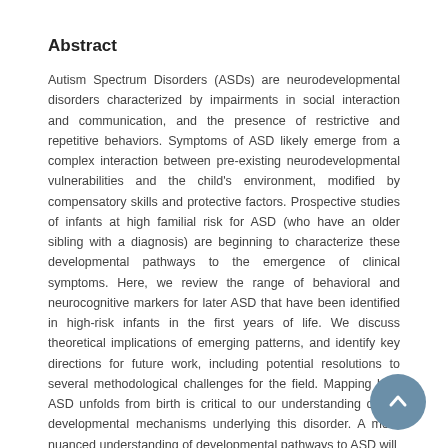Abstract
Autism Spectrum Disorders (ASDs) are neurodevelopmental disorders characterized by impairments in social interaction and communication, and the presence of restrictive and repetitive behaviors. Symptoms of ASD likely emerge from a complex interaction between pre-existing neurodevelopmental vulnerabilities and the child's environment, modified by compensatory skills and protective factors. Prospective studies of infants at high familial risk for ASD (who have an older sibling with a diagnosis) are beginning to characterize these developmental pathways to the emergence of clinical symptoms. Here, we review the range of behavioral and neurocognitive markers for later ASD that have been identified in high-risk infants in the first years of life. We discuss theoretical implications of emerging patterns, and identify key directions for future work, including potential resolutions to several methodological challenges for the field. Mapping how ASD unfolds from birth is critical to our understanding of the developmental mechanisms underlying this disorder. A more nuanced understanding of developmental pathways to ASD will